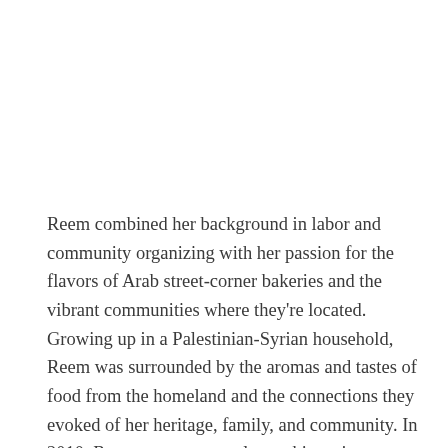Reem combined her background in labor and community organizing with her passion for the flavors of Arab street-corner bakeries and the vibrant communities where they're located. Growing up in a Palestinian-Syrian household, Reem was surrounded by the aromas and tastes of food from the homeland and the connections they evoked of her heritage, family, and community. In 2010, Reem went on a soul-searching trip across Lebanon and Syria and